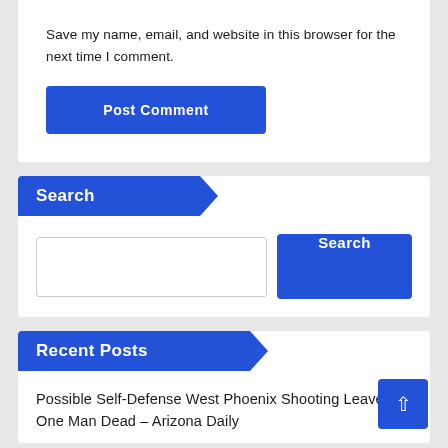Save my name, email, and website in this browser for the next time I comment.
Post Comment
Search
Search
Recent Posts
Possible Self-Defense West Phoenix Shooting Leaves One Man Dead – Arizona Daily